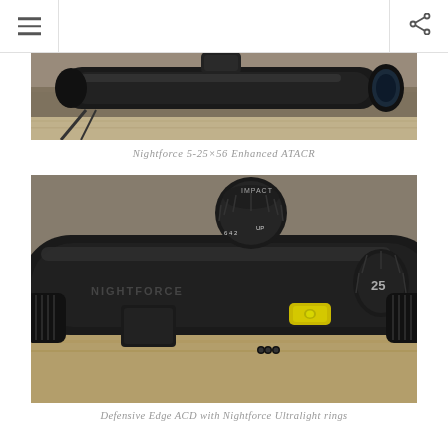Navigation header with hamburger menu and share icon
[Figure (photo): Nightforce 5-25x56 Enhanced ATACR rifle scope mounted on a rifle, viewed from above, with a bipod visible and wooden surface in background. Outdoor setting with vegetation.]
Nightforce 5-25×56 Enhanced ATACR
[Figure (photo): Close-up of a Defensive Edge ACD (Adjustable Cant Device) with Nightforce Ultralight rings mounted on a rifle scope. The image shows the turrets, level bubble, and knurled adjustment rings. The scope body is black with 'NIGHTFORCE' text visible.]
Defensive Edge ACD with Nightforce Ultralight rings